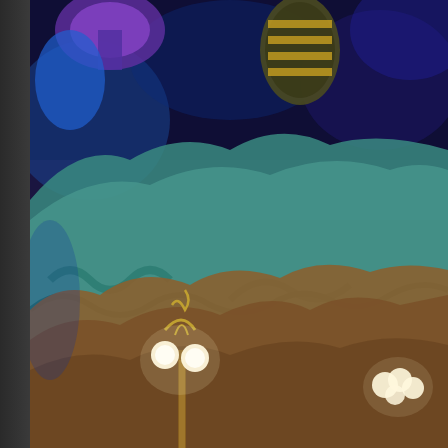[Figure (photo): Nighttime photo of a fantasy/Disney-style parade float or themed ride with colorful teal, brown, and orange rock formations, glowing round lamps on decorative posts, and vibrant blue and purple lighting in the background. Colorful mushroom and shell-like decorations visible at top. Watermark text reads: Photo by Jon Fiedler / www.charactercentral.net]
[Figure (photo): Bottom portion of a second nighttime photo, mostly dark/grey with glimpses of a colorful costume or character figure visible on the right side, showing blue and orange/pink colors against a dark background.]